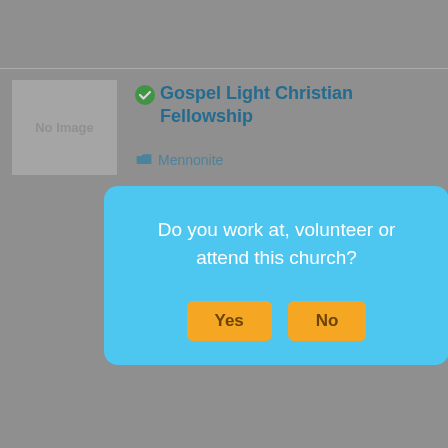[Figure (screenshot): Church directory listing for Gospel Light Christian Fellowship (Mennonite) with address 5485 Highway 7 North, Harrison, and a second listing for a Baptist church at Highway 7 North, Bergman, Arkansas 72615, 2.27 mi, phone 501-741-4957. A modal dialog overlays asking 'Do you work at, volunteer or attend this church?' with Yes and No buttons.]
Gospel Light Christian Fellowship
Mennonite
5485 Highway 7 North, Harrison,
Do you work at, volunteer or attend this church?
Yes
No
Baptist
HIGHWAY 7 NORTH, Bergman, Arkansas 72615  2.27 mi
501-741-4957